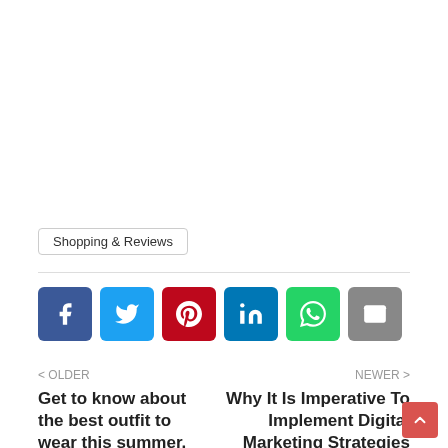Shopping & Reviews
[Figure (other): Row of social share buttons: Facebook, Twitter, Pinterest, LinkedIn, WhatsApp, Email]
< OLDER
Get to know about the best outfit to wear this summer.
NEWER >
Why It Is Imperative To Implement Digital Marketing Strategies